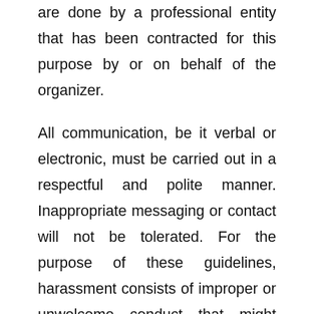are done by a professional entity that has been contracted for this purpose by or on behalf of the organizer.
All communication, be it verbal or electronic, must be carried out in a respectful and polite manner. Inappropriate messaging or contact will not be tolerated. For the purpose of these guidelines, harassment consists of improper or unwelcome conduct that might reasonably be perceived as causing offense or humiliation to another person. Harassment may involve any conduct of a verbal, non-verbal or physical nature, including written and electronic communication, and may occur